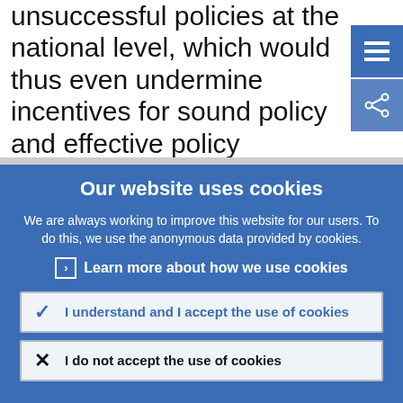unsuccessful policies at the national level, which would thus even undermine incentives for sound policy and effective policy coordination.
Our website uses cookies
We are always working to improve this website for our users. To do this, we use the anonymous data provided by cookies.
> Learn more about how we use cookies
✓ I understand and I accept the use of cookies
✕ I do not accept the use of cookies